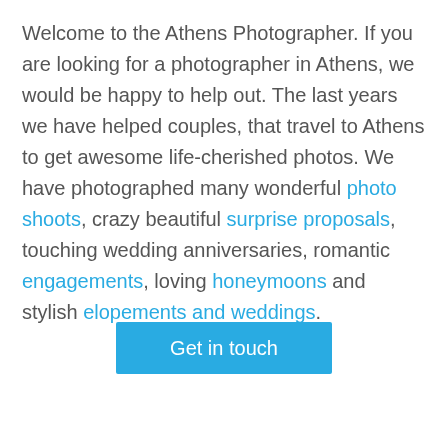Welcome to the Athens Photographer. If you are looking for a photographer in Athens, we would be happy to help out. The last years we have helped couples, that travel to Athens to get awesome life-cherished photos. We have photographed many wonderful photo shoots, crazy beautiful surprise proposals, touching wedding anniversaries, romantic engagements, loving honeymoons and stylish elopements and weddings.
Get in touch